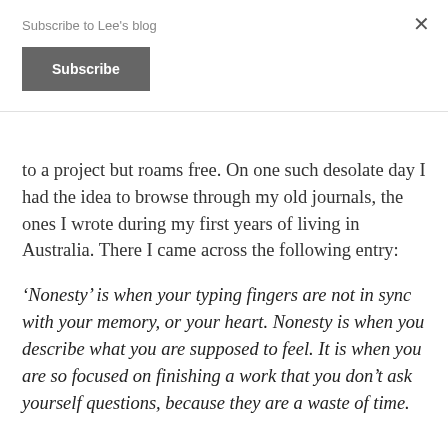Subscribe to Lee's blog
Subscribe
to a project but roams free. On one such desolate day I had the idea to browse through my old journals, the ones I wrote during my first years of living in Australia. There I came across the following entry:
‘Nonesty’ is when your typing fingers are not in sync with your memory, or your heart. Nonesty is when you describe what you are supposed to feel. It is when you are so focused on finishing a work that you don’t ask yourself questions, because they are a waste of time.